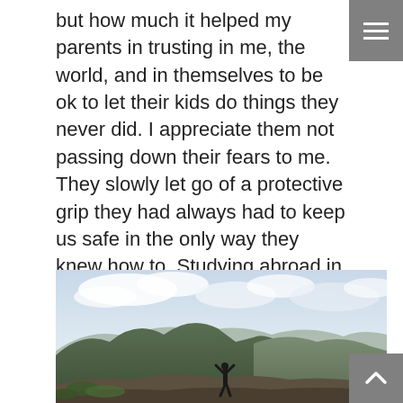but how much it helped my parents in trusting in me, the world, and in themselves to be ok to let their kids do things they never did. I appreciate them not passing down their fears to me. They slowly let go of a protective grip they had always had to keep us safe in the only way they knew how to. Studying abroad in Greece was monumental for me as much as it was for them.
[Figure (photo): A person standing on a rocky hilltop with arms raised in celebration, overlooking a vast mountainous Greek landscape with a body of water (likely the Gulf of Corinth) and cloudy sky in the background.]